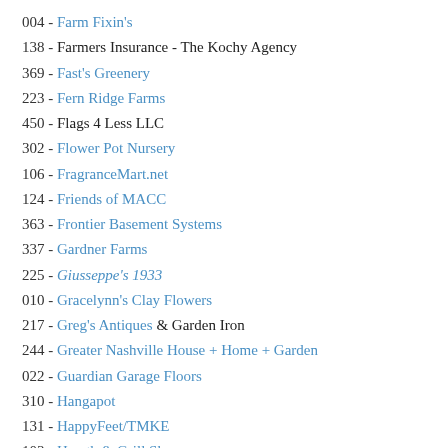004 - Farm Fixin's
138 - Farmers Insurance - The Kochy Agency
369 - Fast's Greenery
223 - Fern Ridge Farms
450 - Flags 4 Less LLC
302 - Flower Pot Nursery
106 - FragranceMart.net
124 - Friends of MACC
363 - Frontier Basement Systems
337 - Gardner Farms
225 - Giusseppe's 1933
010 - Gracelynn's Clay Flowers
217 - Greg's Antiques & Garden Iron
244 - Greater Nashville House + Home + Garden
022 - Guardian Garage Floors
310 - Hangapot
131 - HappyFeet/TMKE
103 - Hearth & Grill Shop
231 - Herb Society of Nashville
147 - Hewitt Garden & Design Center